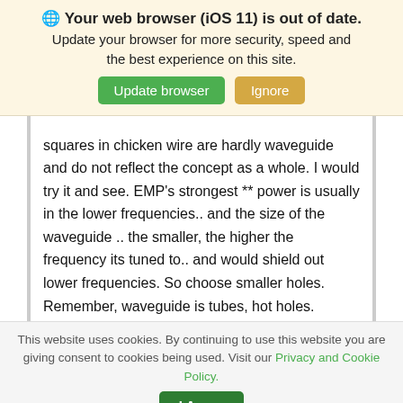🌐 Your web browser (iOS 11) is out of date. Update your browser for more security, speed and the best experience on this site.
squares in chicken wire are hardly waveguide and do not reflect the concept as a whole. I would try it and see. EMP's strongest ** power is usually in the lower frequencies.. and the size of the waveguide .. the smaller, the higher the frequency its tuned to.. and would shield out lower frequencies. So choose smaller holes. Remember, waveguide is tubes, hot holes. Remember, if you test it, BE SURE
This website uses cookies. By continuing to use this website you are giving consent to cookies being used. Visit our Privacy and Cookie Policy.